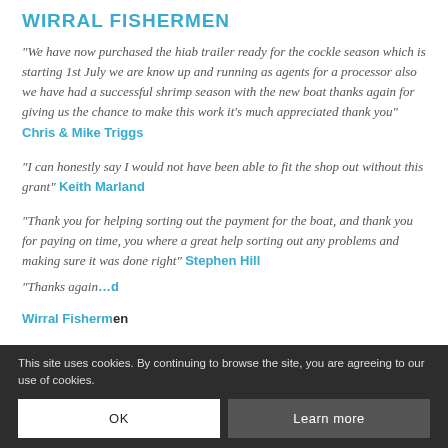WIRRAL FISHERMEN
“We have now purchased the hiab trailer ready for the cockle season which is starting 1st July we are know up and running as agents for a processor also we have had a successful shrimp season with the new boat thanks again for giving us the chance to make this work it’s much appreciated thank you” Chris & Mike Triggs
“I can honestly say I would not have been able to fit the shop out without this grant” Keith Marland
“Thank you for helping sorting out the payment for the boat, and thank you for paying on time, you where a great help sorting out any problems and making sure it was done right” Stephen Hill
“Thanks again…” [partially obscured]
Wirral Fishermen
This site uses cookies. By continuing to browse the site, you are agreeing to our use of cookies.
OK
Learn more